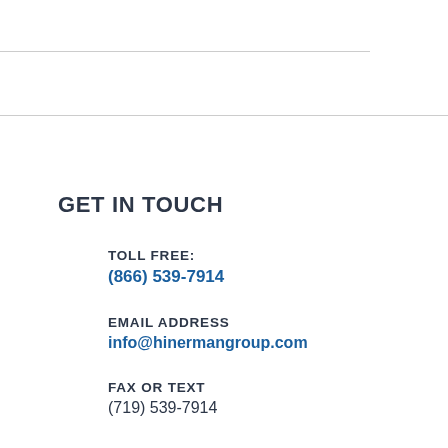GET IN TOUCH
TOLL FREE:
(866) 539-7914
EMAIL ADDRESS
info@hinermangroup.com
FAX OR TEXT
(719) 539-7914